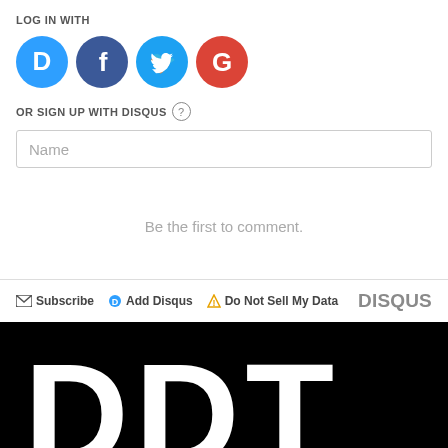LOG IN WITH
[Figure (logo): Four social login buttons: Disqus (blue circle with D), Facebook (dark blue circle with f), Twitter (light blue circle with bird), Google (red circle with G)]
OR SIGN UP WITH DISQUS ?
Name
Be the first to comment.
Subscribe  Add Disqus  Do Not Sell My Data  DISQUS